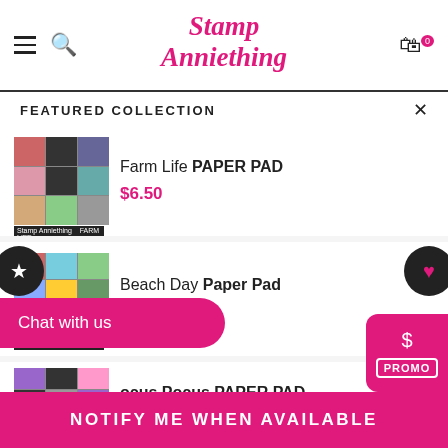Stamp Anniething — navigation header with hamburger, search, logo, and cart
FEATURED COLLECTION
[Figure (photo): Farm Life PAPER PAD product thumbnail mosaic]
Farm Life PAPER PAD
$6.50
[Figure (photo): Beach Day Paper Pad product thumbnail mosaic]
Beach Day Paper Pad
$6.50
[Figure (photo): Hocus Pocus PAPER PAD product thumbnail mosaic]
ocus Pocus PAPER PAD
$3.00 (partially visible, with strikethrough original price)
Chat with us
NOTIFY ME WHEN AVAILABLE